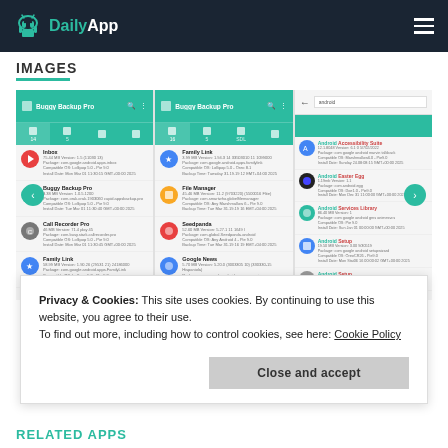DailyApp
IMAGES
[Figure (screenshot): Three screenshot panels of the DailyApp Android backup application showing app lists including Buggy Backup Pro, Family Link, File Manager, Seedpanda, Google News, Android Accessibility Suite, Android Easter Egg, Android Services Library, Android Setup, Android Setup. Navigation arrows on left and right sides.]
Privacy & Cookies: This site uses cookies. By continuing to use this website, you agree to their use.
To find out more, including how to control cookies, see here: Cookie Policy
Close and accept
RELATED APPS